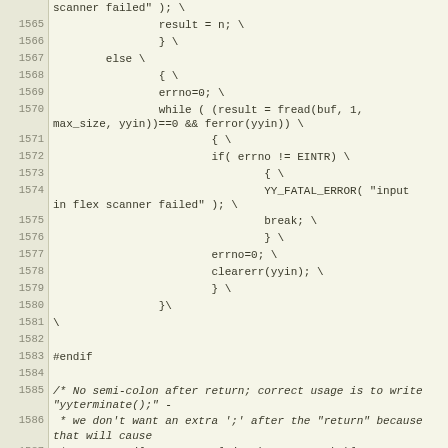Source code listing lines 1565-1591 showing C preprocessor macros and flex scanner error handling code with errno, fread, YY_FATAL_ERROR, clearerr, and yyterminate definitions.